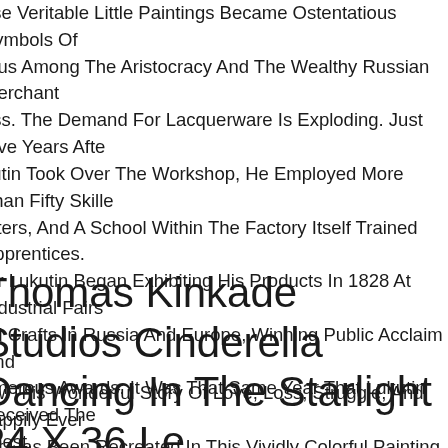ese Veritable Little Paintings Became Ostentatious Symbols Of atus Among The Aristocracy And The Wealthy Russian Merchant ass. The Demand For Lacquerware Is Exploding. Just Five Years Afte kutin Took Over The Workshop, He Employed More Than Fifty Skille inters, And A School Within The Factory Itself Trained Apprentices. otr Lukutin Began Exhibiting His Products In 1828 At Industrial Fairs nd Crafts In Russia And Europe, Winning Public Acclaim And umerous Awards. It Was That Same Year That Lukutin Received The ghest.
Thomas Kinkade Studios Cinderella Dancing In The Starlight 24 X 36 Le /n Canvas
ow This Wonderful Story Of Love, Loss, Struggle, And happily Ever ter Has Been Recreated In This Vividly Colorful Painting Like Never efore By Thomas Kinkade Studios In Cinderella Dancing In The arlight, The Second Piece Of The Collection Entitled, Dancing In The